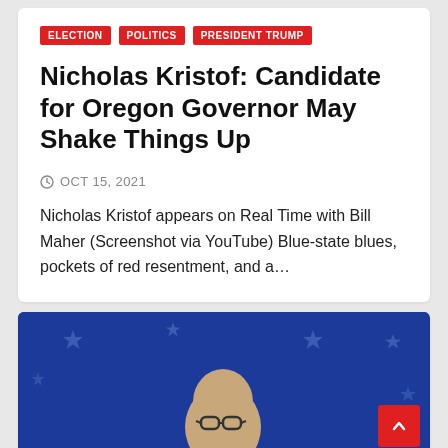ELECTION   POLITICS   PRESIDENT TRUMP
Nicholas Kristof: Candidate for Oregon Governor May Shake Things Up
OCT 15, 2021
Nicholas Kristof appears on Real Time with Bill Maher (Screenshot via YouTube) Blue-state blues, pockets of red resentment, and a…
[Figure (photo): Photo of a bald man wearing glasses in front of a blue background with white stars, resembling a patriotic/political backdrop. A red scroll-to-top button is visible in the bottom right corner.]